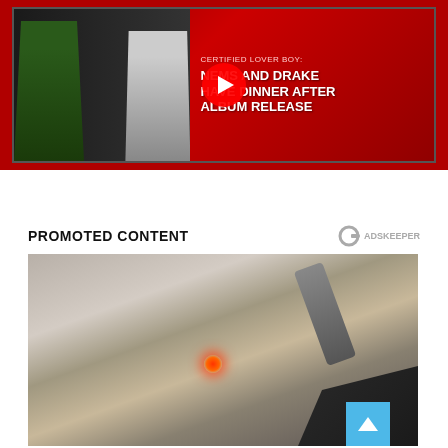[Figure (screenshot): YouTube video thumbnail showing two celebrities on a red background with text: CERTIFIED LOVER BOY: NEMS AND DRAKE HAVE DINNER AFTER ALBUM RELEASE, with a YouTube play button overlay]
PROMOTED CONTENT
[Figure (photo): Advertisement photo showing a person receiving laser tattoo removal treatment on their face, with a gloved hand holding a laser device, with a blue back-to-top button in the bottom right corner]